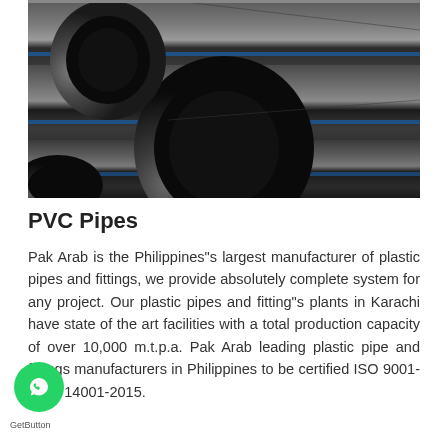[Figure (photo): Photo of large dark HDPE/PVC pipes stacked together, showing circular pipe ends and long cylindrical bodies with blue stripe markings, in an industrial warehouse or storage setting.]
PVC Pipes
Pak Arab is the Philippines"s largest manufacturer of plastic pipes and fittings, we provide absolutely complete system for any project. Our plastic pipes and fitting"s plants in Karachi have state of the art facilities with a total production capacity of over 10,000 m.t.p.a. Pak Arab leading plastic pipe and fittings manufacturers in Philippines to be certified ISO 9001-2015 14001-2015.